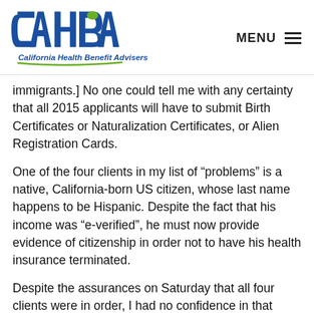[Figure (logo): CAHBA California Health Benefit Advisers logo — blue lettering with green accent]
MENU
immigrants.] No one could tell me with any certainty that all 2015 applicants will have to submit Birth Certificates or Naturalization Certificates, or Alien Registration Cards.
One of the four clients in my list of “problems” is a native, California-born US citizen, whose last name happens to be Hispanic. Despite the fact that his income was “e-verified”, he must now provide evidence of citizenship in order not to have his health insurance terminated.
Despite the assurances on Saturday that all four clients were in order, I had no confidence in that assessment, and called CoveredCA again today (Monday). I spent 50 minutes on hold to get to a CSR and another hour on the